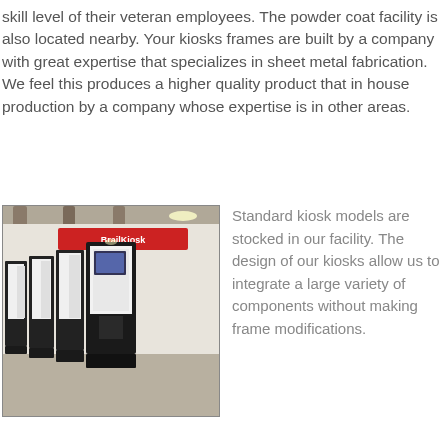skill level of their veteran employees. The powder coat facility is also located nearby. Your kiosks frames are built by a company with great expertise that specializes in sheet metal fabrication. We feel this produces a higher quality product that in house production by a company whose expertise is in other areas.
[Figure (photo): Interior of a facility showing a row of dark-framed kiosk units lined up along a white wall. A sign reading 'BrailKiosk' or similar is visible on the wall. One kiosk in the foreground has a monitor/screen installed.]
Standard kiosk models are stocked in our facility. The design of our kiosks allow us to integrate a large variety of components without making frame modifications.